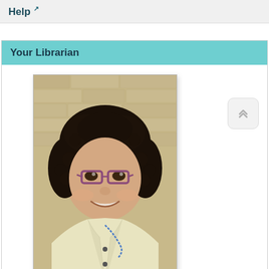Help ↗
Your Librarian
[Figure (photo): Portrait photo of a woman with curly dark hair, wearing purple-framed glasses and a light yellow blazer, smiling in front of a brick wall background.]